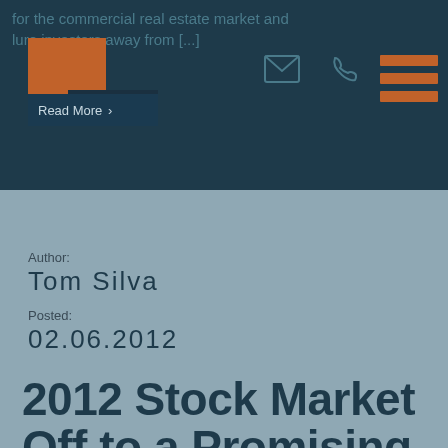for the commercial real estate market and lure investors away from [...]
[Figure (logo): Alter company logo with orange square and dark background, with 'Read More' button below]
Author:
Tom Silva
Posted:
02.06.2012
2012 Stock Market Off to a Promising Start